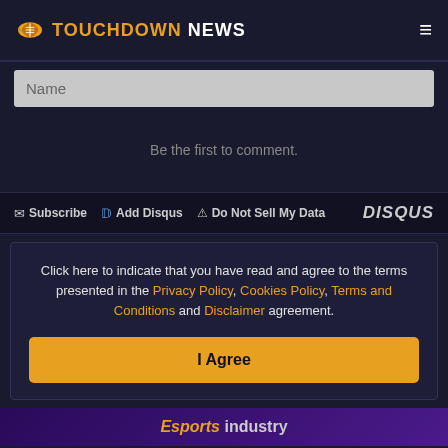TOUCHDOWN NEWS
Name
Be the first to comment.
Subscribe  Add Disqus  Do Not Sell My Data  DISQUS
Click here to indicate that you have read and agree to the terms presented in the Privacy Policy, Cookies Policy, Terms and Conditions and Disclaimer agreement.
I Agree
Esports industry